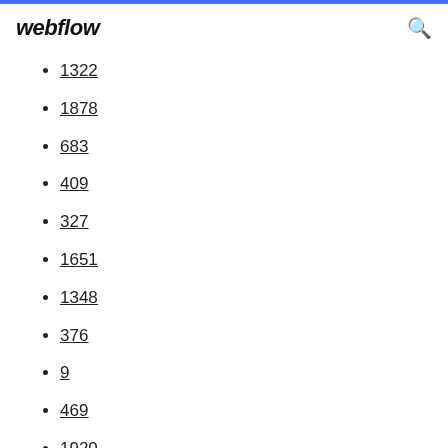webflow
1322
1878
683
409
327
1651
1348
376
9
469
1920
86
580